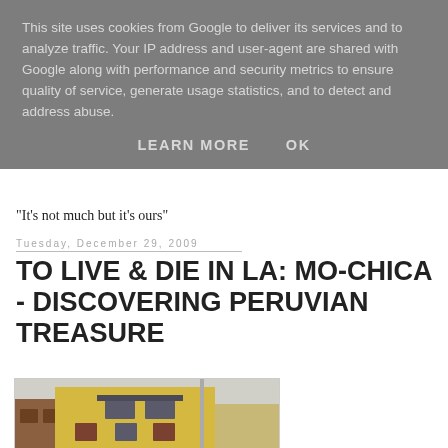This site uses cookies from Google to deliver its services and to analyze traffic. Your IP address and user-agent are shared with Google along with performance and security metrics to ensure quality of service, generate usage statistics, and to detect and address abuse.
LEARN MORE   OK
"It's not much but it's ours"
Tuesday, December 29, 2009
TO LIVE & DIE IN LA: MO-CHICA - DISCOVERING PERUVIAN TREASURE
[Figure (photo): Exterior photo of a yellow building with shuttered windows and a metal pole in front]